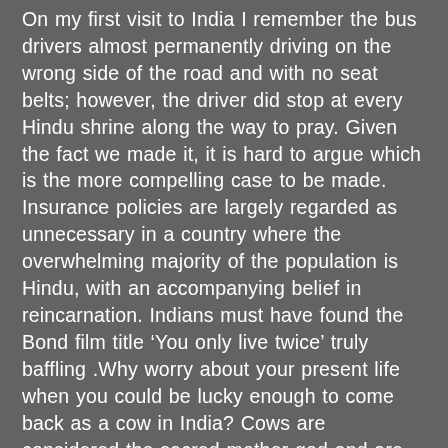On my first visit to India I remember the bus drivers almost permanently driving on the wrong side of the road and with no seat belts; however, the driver did stop at every Hindu shrine along the way to pray. Given the fact we made it, it is hard to argue which is the more compelling case to be made. Insurance policies are largely regarded as unnecessary in a country where the overwhelming majority of the population is Hindu, with an accompanying belief in reincarnation. Indians must have found the Bond film title ‘You only live twice’ truly baffling .Why worry about your present life when you could be lucky enough to come back as a cow in India? Cows are considered the sacred mother god and are to be seen scattered across the streets of most of India, including lying in the middle of the traffic as 1.2 billion Indians go about their daily business. One of the most fascinating things to do in India is drive or walk around in order to see every